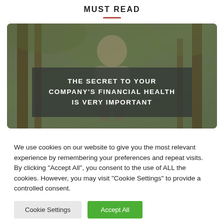MUST READ
[Figure (photo): Person sitting outdoors in a forest/wooded setting with an overlaid dark semi-transparent box reading 'THE SECRET TO YOUR COMPANY'S FINANCIAL HEALTH IS VERY IMPORTANT']
We use cookies on our website to give you the most relevant experience by remembering your preferences and repeat visits. By clicking "Accept All", you consent to the use of ALL the cookies. However, you may visit "Cookie Settings" to provide a controlled consent.
Cookie Settings | Accept All